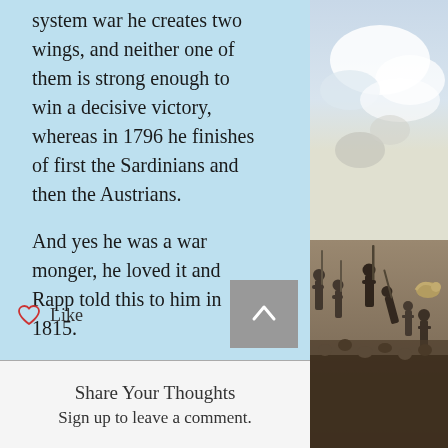system war he creates two wings, and neither one of them is strong enough to win a decisive victory, whereas in 1796 he finishes of first the Sardinians and then the Austrians.
And yes he was a war monger, he loved it and Rapp told this to him in 1815.
[Figure (illustration): A painting depicting a Napoleonic battle scene with soldiers, bayonets, and smoke in the background.]
Like
Share Your Thoughts
Sign up to leave a comment.